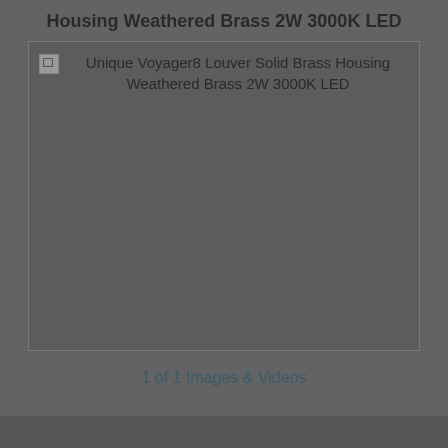Housing Weathered Brass 2W 3000K LED
[Figure (photo): Broken image placeholder with alt text: Unique Voyager8 Louver Solid Brass Housing Weathered Brass 2W 3000K LED]
1 of 1 Images & Videos